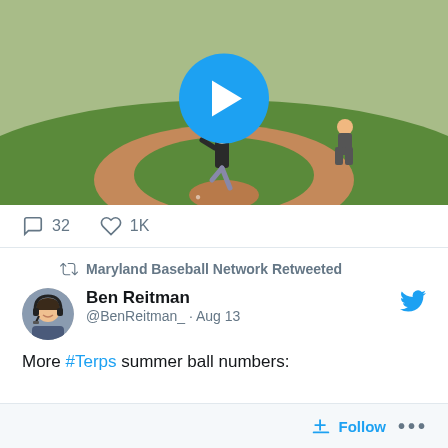[Figure (screenshot): Baseball video thumbnail showing a pitcher in motion on a baseball field with a blue play button overlay]
32  1K
Maryland Baseball Network Retweeted
Ben Reitman @BenReitman_ · Aug 13
More #Terps summer ball numbers:

Andrew Johnson (Bethesda Big Train )
7 G, 12.2 IP, 27 K, 3.55 ERA

Sean Lane (Bethesda)
31 G, 87 AB, 15 R, 19 H, 5 2B, 2 HR, 22 RBI,
Follow  ...